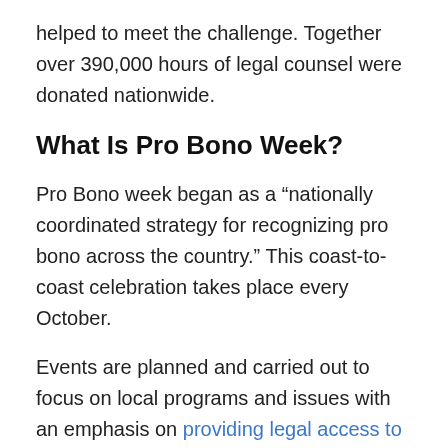helped to meet the challenge. Together over 390,000 hours of legal counsel were donated nationwide.
What Is Pro Bono Week?
Pro Bono week began as a “nationally coordinated strategy for recognizing pro bono across the country.” This coast-to-coast celebration takes place every October.
Events are planned and carried out to focus on local programs and issues with an emphasis on providing legal access to justice for low-income and vulnerable